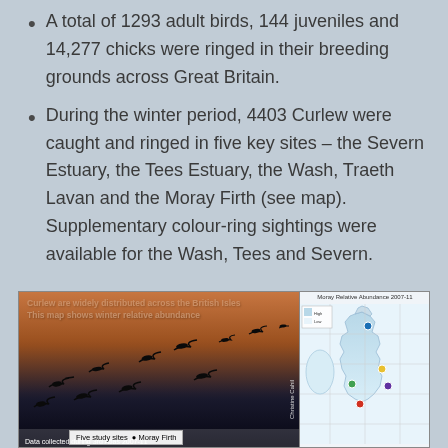A total of 1293 adult birds, 144 juveniles and 14,277 chicks were ringed in their breeding grounds across Great Britain.
During the winter period, 4403 Curlew were caught and ringed in five key sites – the Severn Estuary, the Tees Estuary, the Wash, Traeth Lavan and the Moray Firth (see map). Supplementary colour-ring sightings were available for the Wash, Tees and Severn.
[Figure (photo): Composite image showing silhouettes of Curlew birds flying against a sunset sky on the left, and a map of Great Britain showing winter relative abundance with five study sites marked on the right. Text overlay reads: 'Curlew are widely distributed across the British Isles. This map shows winter relative abundance'. Legend shows Five study sites: Moray Firth.]